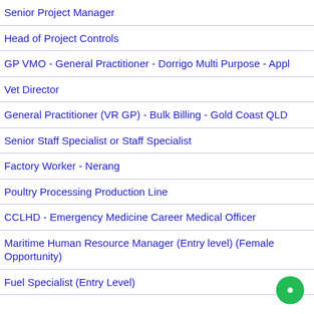Senior Project Manager
Head of Project Controls
GP VMO - General Practitioner - Dorrigo Multi Purpose - Appl
Vet Director
General Practitioner (VR GP) - Bulk Billing - Gold Coast QLD
Senior Staff Specialist or Staff Specialist
Factory Worker - Nerang
Poultry Processing Production Line
CCLHD - Emergency Medicine Career Medical Officer
Maritime Human Resource Manager (Entry level) (Female Opportunity)
Fuel Specialist (Entry Level)